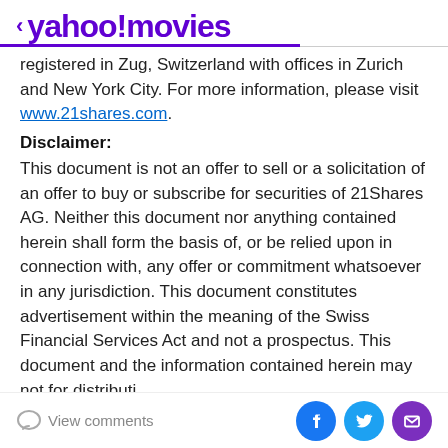< yahoo!movies
registered in Zug, Switzerland with offices in Zurich and New York City. For more information, please visit www.21shares.com.
Disclaimer:
This document is not an offer to sell or a solicitation of an offer to buy or subscribe for securities of 21Shares AG. Neither this document nor anything contained herein shall form the basis of, or be relied upon in connection with, any offer or commitment whatsoever in any jurisdiction. This document constitutes advertisement within the meaning of the Swiss Financial Services Act and not a prospectus. This document and the information contained herein may not for distributi...
View comments